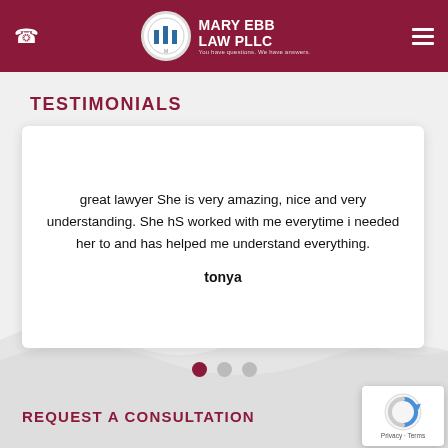Mary Ebb Law PLLC — You have questions. We have answers.
TESTIMONIALS
great lawyer She is very amazing, nice and very understanding. She hS worked with me everytime i needed her to and has helped me understand everything.

tonya
REQUEST A CONSULTATION